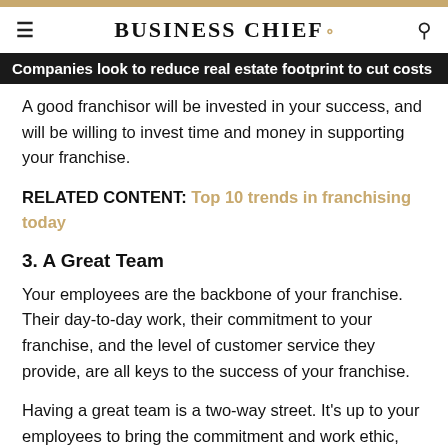BUSINESS CHIEF.
Companies look to reduce real estate footprint to cut costs
A good franchisor will be invested in your success, and will be willing to invest time and money in supporting your franchise.
RELATED CONTENT: Top 10 trends in franchising today
3. A Great Team
Your employees are the backbone of your franchise. Their day-to-day work, their commitment to your franchise, and the level of customer service they provide, are all keys to the success of your franchise.
Having a great team is a two-way street. It's up to your employees to bring the commitment and work ethic,